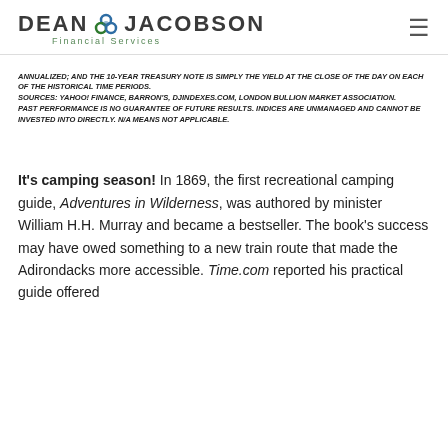Dean & Jacobson Financial Services
ANNUALIZED; AND THE 10-YEAR TREASURY NOTE IS SIMPLY THE YIELD AT THE CLOSE OF THE DAY ON EACH OF THE HISTORICAL TIME PERIODS. SOURCES: YAHOO! FINANCE, BARRON'S, DJINDEXES.COM, LONDON BULLION MARKET ASSOCIATION. PAST PERFORMANCE IS NO GUARANTEE OF FUTURE RESULTS. INDICES ARE UNMANAGED AND CANNOT BE INVESTED INTO DIRECTLY. N/A MEANS NOT APPLICABLE.
It's camping season! In 1869, the first recreational camping guide, Adventures in Wilderness, was authored by minister William H.H. Murray and became a bestseller. The book's success may have owed something to a new train route that made the Adirondacks more accessible. Time.com reported his practical guide offered